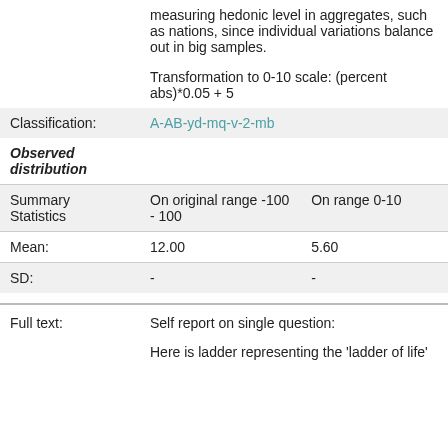measuring hedonic level in aggregates, such as nations, since individual variations balance out in big samples.
Transformation to 0-10 scale: (percent abs)*0.05 + 5
| Classification: | A-AB-yd-mq-v-2-mb |
| --- | --- |
Observed distribution
|  | On original range -100 - 100 | On range 0-10 |
| --- | --- | --- |
| Mean: | 12.00 | 5.60 |
| SD: | - | - |
Full text:    Self report on single question:
Here is ladder representing the 'ladder of life'